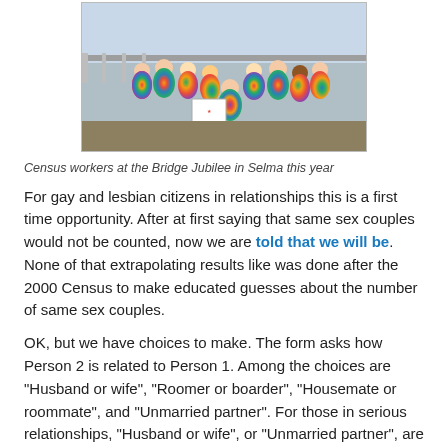[Figure (photo): Group of young people wearing colorful tie-dye t-shirts with Census 2010 logos, posing together outdoors near a bridge.]
Census workers at the Bridge Jubilee in Selma this year
For gay and lesbian citizens in relationships this is a first time opportunity. After at first saying that same sex couples would not be counted, now we are told that we will be. None of that extrapolating results like was done after the 2000 Census to make educated guesses about the number of same sex couples.
OK, but we have choices to make. The form asks how Person 2 is related to Person 1. Among the choices are "Husband or wife", "Roomer or boarder", "Housemate or roommate", and "Unmarried partner". For those in serious relationships, "Husband or wife", or "Unmarried partner", are the choices to consider.